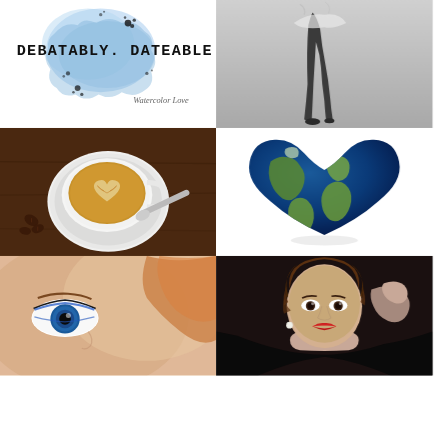[Figure (logo): Logo with watercolor blue ink splash and text 'DEBATABLY DATEABLE' in bold uppercase monospace font, with cursive 'Watercolor Love' subtitle below on white background]
[Figure (photo): Black and white photograph of a ballet dancer standing on pointe, shot from the knees down, against a grey gradient background]
[Figure (photo): Overhead photo of a latte with heart latte art in a white cup and saucer on a dark wooden table with coffee beans scattered nearby]
[Figure (illustration): Heart-shaped Earth globe illustration showing continents in green/brown on deep blue oceans, on white background]
[Figure (photo): Close-up photo of a young woman's blue eyes with blue eyeliner, reddish-blonde hair, warm tone filter]
[Figure (photo): Portrait photo of a young woman with curly brown hair, red lipstick, pearl earrings, wearing black lace, posing with hand behind head]